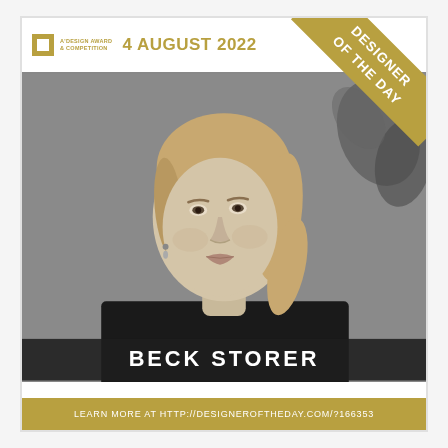4 AUGUST 2022
[Figure (photo): Black and white portrait photo of Beck Storer, a woman with shoulder-length blonde hair wearing a black top, looking to the left, with a blurred background showing some plant silhouettes. A 'DESIGNER OF THE DAY' ribbon banner is in the top-right corner.]
BECK STORER
LEARN MORE AT HTTP://DESIGNEROFTHEDAY.COM/?166353